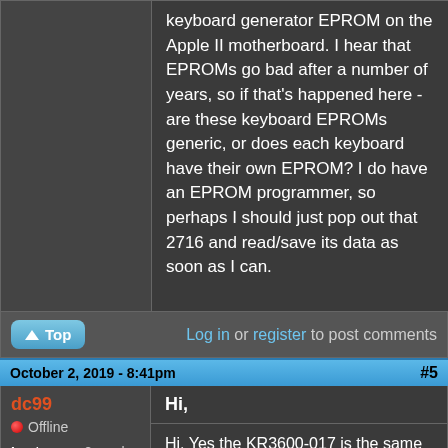keyboard generator EPROM on the Apple II motherboard. I hear that EPROMs go bad after a number of years, so if that's happened here - are these keyboard EPROMs generic, or does each keyboard have their own EPROM? I do have an EPROM programmer, so perhaps I should just pop out that 2716 and read/save its data as soon as I can.
Log in or register to post comments
October 2, 2019 - 8:41pm  #5
dc99
Offline
Last seen: 2 weeks 4 days ago
Hi,
Hi, Yes the KR3600-017 is the same as what the Apple 2e uses. You can find the encoder pinout online and